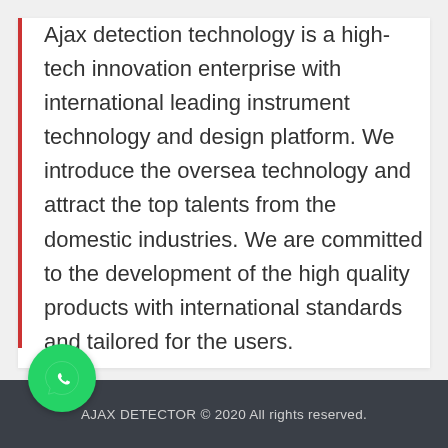Ajax detection technology is a high-tech innovation enterprise with international leading instrument technology and design platform. We introduce the oversea technology and attract the top talents from the domestic industries. We are committed to the development of the high quality products with international standards and tailored for the users.
[Figure (logo): WhatsApp logo — green circle with white phone/chat handset icon]
AJAX DETECTOR © 2020 All rights reserved.